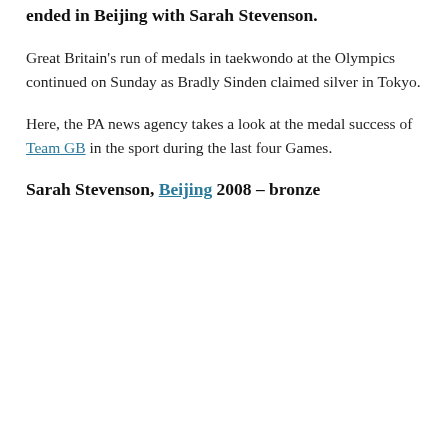Great Britain's wait for a first-ever taekwondo medal ended in Beijing with Sarah Stevenson.
Great Britain's run of medals in taekwondo at the Olympics continued on Sunday as Bradly Sinden claimed silver in Tokyo.
Here, the PA news agency takes a look at the medal success of Team GB in the sport during the last four Games.
Sarah Stevenson, Beijing 2008 – bronze